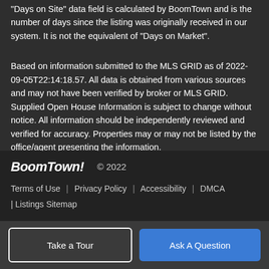"Days on Site" data field is calculated by BoomTown and is the number of days since the listing was originally received in our system. It is not the equivalent of "Days on Market".
Based on information submitted to the MLS GRID as of 2022-09-05T22:14:18.57. All data is obtained from various sources and may not have been verified by broker or MLS GRID. Supplied Open House Information is subject to change without notice. All information should be independently reviewed and verified for accuracy. Properties may or may not be listed by the office/agent presenting the information.
BoomTown! © 2022 | Terms of Use | Privacy Policy | Accessibility | DMCA | Listings Sitemap
Take a Tour
Ask A Question